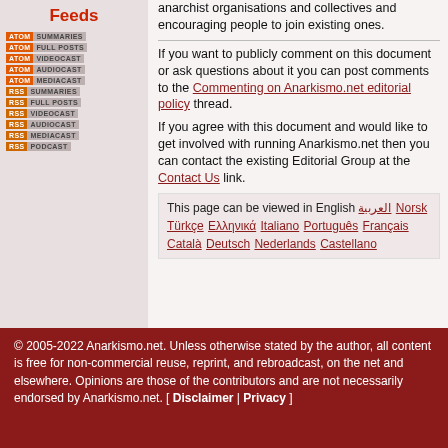Feeds
ATOM SUMMARIES
ATOM FULL POSTS
ATOM VIDEOCAST
ATOM AUDIOCAST
ATOM MEDIACAST
RSS SUMMARIES
RSS FULL POSTS
RSS VIDEOCAST
RSS AUDIOCAST
RSS MEDIACAST
RSS PODCAST
anarchist organisations and collectives and encouraging people to join existing ones.
If you want to publicly comment on this document or ask questions about it you can post comments to the Commenting on Anarkismo.net editorial policy thread.
If you agree with this document and would like to get involved with running Anarkismo.net then you can contact the existing Editorial Group at the Contact Us link.
This page can be viewed in English العربية Norsk Türkçe Ελληνικά Italiano Português Français Català Deutsch Nederlands Castellano
© 2005-2022 Anarkismo.net. Unless otherwise stated by the author, all content is free for non-commercial reuse, reprint, and rebroadcast, on the net and elsewhere. Opinions are those of the contributors and are not necessarily endorsed by Anarkismo.net. [ Disclaimer | Privacy ]